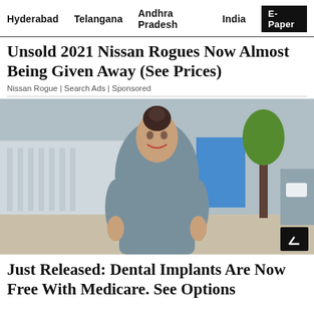Hyderabad   Telangana   Andhra Pradesh   India   E-Paper
Unsold 2021 Nissan Rogues Now Almost Being Given Away (See Prices)
Nissan Rogue | Search Ads | Sponsored
[Figure (photo): Woman in grey dress smiling on a sidewalk, with trees and buildings in the background. A back-to-top arrow button is visible in the bottom right corner.]
Just Released: Dental Implants Are Now Free With Medicare. See Options